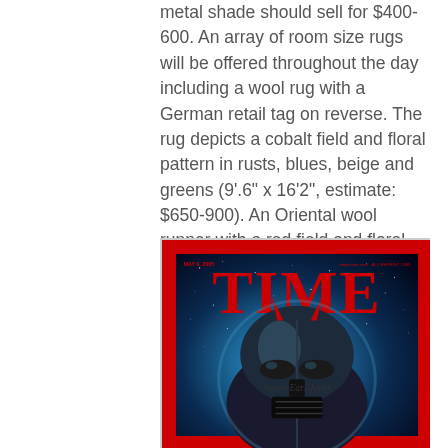metal shade should sell for $400-600. An array of room size rugs will be offered throughout the day including a wool rug with a German retail tag on reverse. The rug depicts a cobalt field and floral pattern in rusts, blues, beige and greens (9'.6" x 16'2", estimate: $650-900). An Oriental wool runner with a red field and floral pattern is a possible bargain at an estimate of $250-500.
[Figure (photo): Time magazine cover featuring Darth Vader helmet from Star Wars with a signature, set against a space background with the classic red TIME logo. Small date text top left and URL top right.]